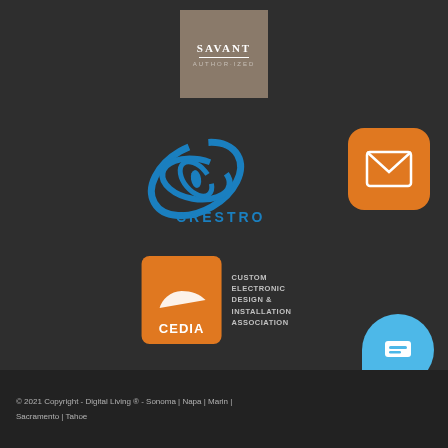[Figure (logo): Savant Authorized logo - brown/taupe square with SAVANT text and horizontal line above AUTHORIZED text]
[Figure (logo): Crestron logo - blue swirling galaxy/spiral shape above CRESTRON text in blue]
[Figure (logo): Email icon button - orange rounded square with white envelope icon]
[Figure (logo): CEDIA logo - orange square with CEDIA text, alongside CUSTOM ELECTRONIC DESIGN & INSTALLATION ASSOCIATION text]
[Figure (logo): Chat button - light blue teardrop/bubble shape with chat icon]
© 2021 Copyright - Digital Living ® - Sonoma | Napa | Marin | Sacramento | Tahoe